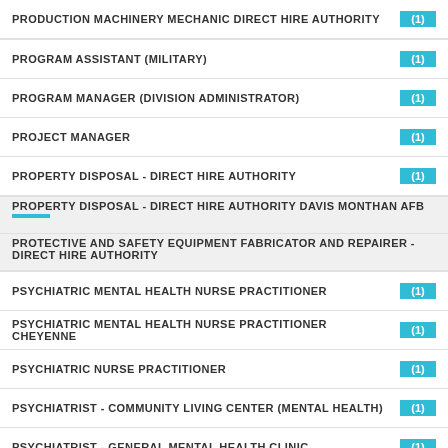PRODUCTION MACHINERY MECHANIC DIRECT HIRE AUTHORITY (1)
PROGRAM ASSISTANT (MILITARY) (1)
PROGRAM MANAGER (DIVISION ADMINISTRATOR) (1)
PROJECT MANAGER (1)
PROPERTY DISPOSAL - DIRECT HIRE AUTHORITY (1)
PROPERTY DISPOSAL - DIRECT HIRE AUTHORITY DAVIS MONTHAN AFB
PROTECTIVE AND SAFETY EQUIPMENT FABRICATOR AND REPAIRER - DIRECT HIRE AUTHORITY
PSYCHIATRIC MENTAL HEALTH NURSE PRACTITIONER (1)
PSYCHIATRIC MENTAL HEALTH NURSE PRACTITIONER CHEYENNE (1)
PSYCHIATRIC NURSE PRACTITIONER (1)
PSYCHIATRIST - COMMUNITY LIVING CENTER (MENTAL HEALTH) (1)
PSYCHIATRIST - GENERAL MENTAL HEALTH CLINIC (1)
PSYCHIATRIST GRAND JUNCTION (1)